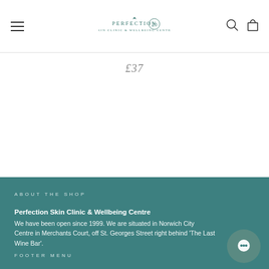Perfection Skin Clinic & Wellbeing Centre — navigation header with hamburger menu, logo, search and cart icons
£37
ABOUT THE SHOP
Perfection Skin Clinic & Wellbeing Centre
We have been open since 1999.  We are situated in Norwich City Centre in Merchants Court, off St. Georges Street right behind 'The Last Wine Bar'.
[Figure (infographic): Social media icons: Facebook, Twitter, Instagram, Pinterest, YouTube]
FOOTER MENU